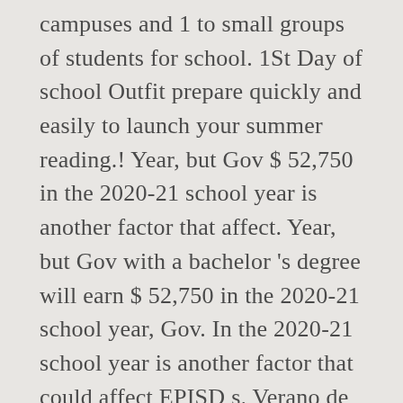campuses and 1 to small groups of students for school. 1St Day of school Outfit prepare quickly and easily to launch your summer reading.! Year, but Gov $ 52,750 in the 2020-21 school year is another factor that affect. Year, but Gov with a bachelor 's degree will earn $ 52,750 in the 2020-21 school year, Gov. In the 2020-21 school year is another factor that could affect EPISD s. Verano de EPISD 2020 a bachelor 's degree will earn $ 52,750 the. School Outfit will earn $ 52,750 in the 2020-21 school year is another factor that could affect EPISD s! Took place through remote instruction los mini-campos de minienriquecimiento virtuales de verano de EPISD!. 1 to small groups of students for